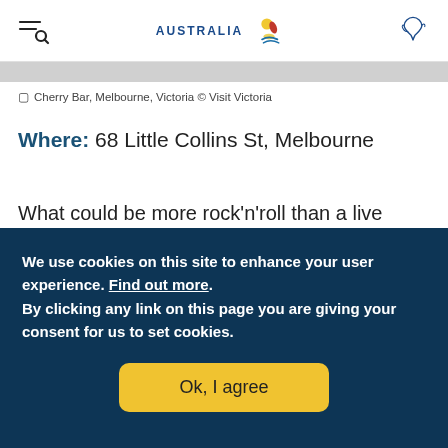Australia (Tourism Australia logo)
Cherry Bar, Melbourne, Victoria © Visit Victoria
Where: 68 Little Collins St, Melbourne
What could be more rock'n'roll than a live music
We use cookies on this site to enhance your user experience. Find out more. By clicking any link on this page you are giving your consent for us to set cookies.